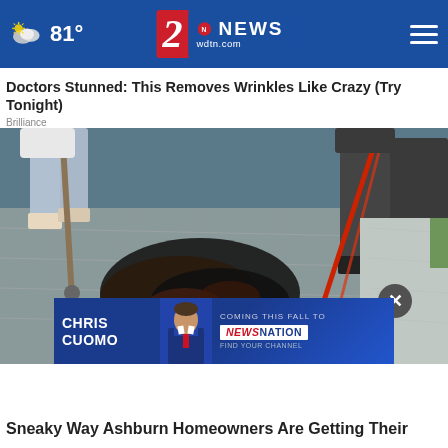81° | 2NEWS wdtn.com
Doctors Stunned: This Removes Wrinkles Like Crazy (Try Tonight)
Brilliance
[Figure (photo): Workers on a rooftop or pavement, one holding a tool with a red handle, working on dark damaged material/debris on a tiled surface.]
[Figure (infographic): Advertisement banner for Chris Cuomo Coming This Fall to NewsNation - Find Your Channel, with person photo.]
Sneaky Way Ashburn Homeowners Are Getting Their